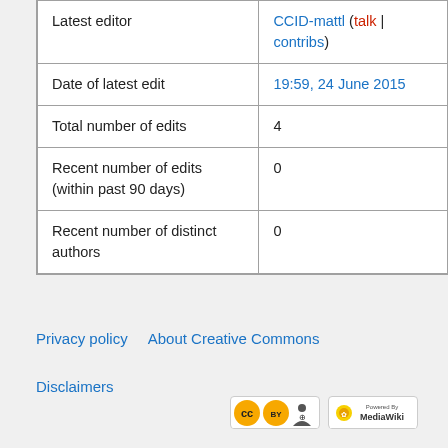| Latest editor | CCID-mattl (talk | contribs) |
| Date of latest edit | 19:59, 24 June 2015 |
| Total number of edits | 4 |
| Recent number of edits (within past 90 days) | 0 |
| Recent number of distinct authors | 0 |
Privacy policy   About Creative Commons
Disclaimers